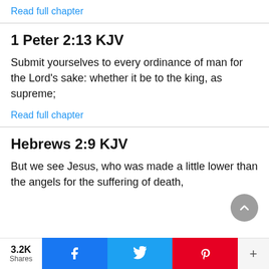Read full chapter
1 Peter 2:13 KJV
Submit yourselves to every ordinance of man for the Lord's sake: whether it be to the king, as supreme;
Read full chapter
Hebrews 2:9 KJV
But we see Jesus, who was made a little lower than the angels for the suffering of death,
3.2K Shares  Facebook  Twitter  Pinterest  +